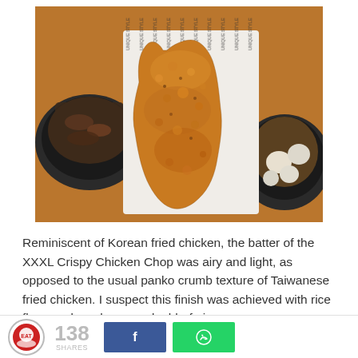[Figure (photo): Overhead photo of a large crispy fried chicken chop (XXXL) laid on patterned paper on a wooden table, with two dark bowls on either side — one with rice and meat, one with lighter ingredients.]
Reminiscent of Korean fried chicken, the batter of the XXXL Crispy Chicken Chop was airy and light, as opposed to the usual panko crumb texture of Taiwanese fried chicken. I suspect this finish was achieved with rice flour, and maybe even double-frying.
138 SHARES  [Facebook share button] [WhatsApp share button]